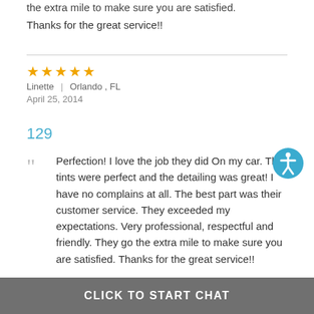the extra mile to make sure you are satisfied. Thanks for the great service!!
★★★★★
Linette | Orlando , FL
April 25, 2014
129
Perfection! I love the job they did On my car. The tints were perfect and the detailing was great! I have no complains at all. The best part was their customer service. They exceeded my expectations. Very professional, respectful and friendly. They go the extra mile to make sure you are satisfied. Thanks for the great service!!
[Figure (illustration): Blue circular accessibility icon with white person figure]
CLICK TO START CHAT